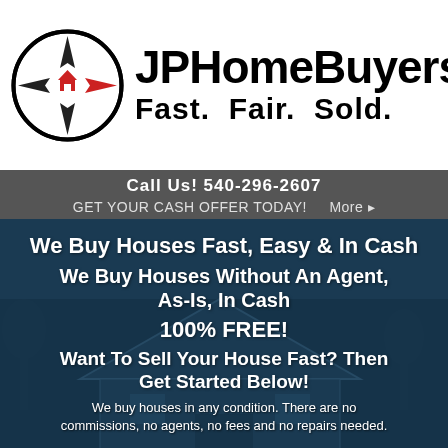[Figure (logo): JPHomeBuyers compass logo circle with house icon and red arrow, brand name JPHomeBuyers and tagline Fast. Fair. Sold.]
Call Us! 540-296-2607
GET YOUR CASH OFFER TODAY!  More ▸
We Buy Houses Fast, Easy & In Cash
We Buy Houses Without An Agent, As-Is, In Cash
100% FREE!
Want To Sell Your House Fast? Then Get Started Below!
We buy houses in any condition. There are no commissions, no agents, no fees and no repairs needed.